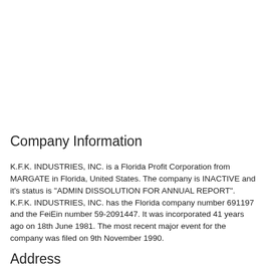Company Information
K.F.K. INDUSTRIES, INC. is a Florida Profit Corporation from MARGATE in Florida, United States. The company is INACTIVE and it's status is "ADMIN DISSOLUTION FOR ANNUAL REPORT". K.F.K. INDUSTRIES, INC. has the Florida company number 691197 and the FeiEin number 59-2091447. It was incorporated 41 years ago on 18th June 1981. The most recent major event for the company was filed on 9th November 1990.
Address